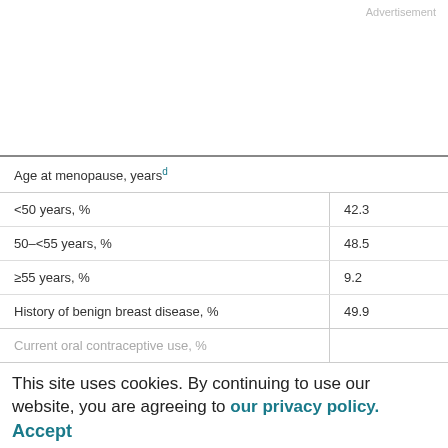Advertisement
| Characteristic | Value |
| --- | --- |
| Age at menopause, years (footnote d) |  |
| <50 years, % | 42.3 |
| 50–<55 years, % | 48.5 |
| ≥55 years, % | 9.2 |
| History of benign breast disease, % | 49.9 |
| Current oral contraceptive use, % |  |
| Type of postmenopausal hormone therapy use |  |
| Never/not postmenopausal, % | 1.4 |
This site uses cookies. By continuing to use our website, you are agreeing to our privacy policy.
Accept